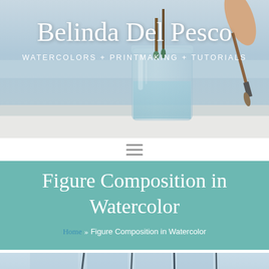[Figure (photo): Website header photo showing a glass jar with a paintbrush being dipped in water, viewed from above with a hazy blue-grey outdoor background. Over the photo: site title 'Belinda Del Pesco' and subtitle 'WATERCOLORS + PRINTMAKING + TUTORIALS' in white text.]
Belinda Del Pesco
WATERCOLORS + PRINTMAKING + TUTORIALS
[Figure (other): Hamburger menu icon (three horizontal lines)]
Figure Composition in Watercolor
Home » Figure Composition in Watercolor
[Figure (photo): Bottom portion of a watercolor artwork showing vertical figure studies painted in light blue-grey tones with dark outlines, resembling standing figures or panels.]